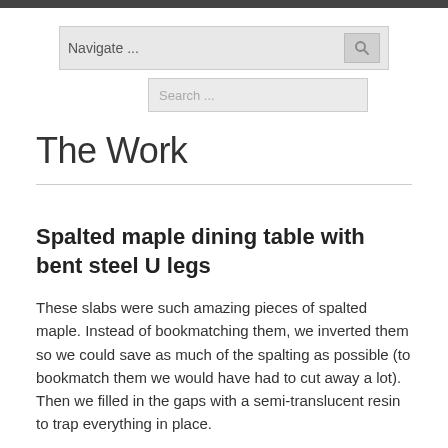Navigate ...
Search ...
The Work
Spalted maple dining table with bent steel U legs
These slabs were such amazing pieces of spalted maple. Instead of bookmatching them, we inverted them so we could save as much of the spalting as possible (to bookmatch them we would have had to cut away a lot). Then we filled in the gaps with a semi-translucent resin to trap everything in place.